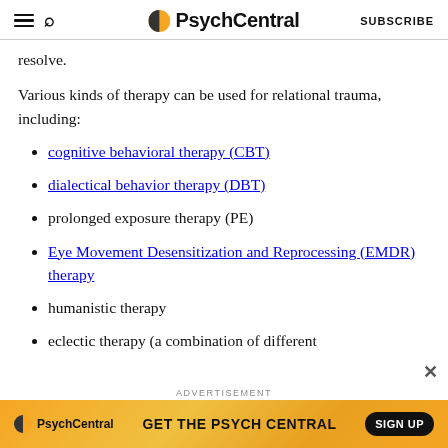PsychCentral | SUBSCRIBE
resolve.
Various kinds of therapy can be used for relational trauma, including:
cognitive behavioral therapy (CBT)
dialectical behavior therapy (DBT)
prolonged exposure therapy (PE)
Eye Movement Desensitization and Reprocessing (EMDR) therapy
humanistic therapy
eclectic therapy (a combination of different
[Figure (screenshot): PsychCentral advertisement banner: GET THE PSYCH CENTRAL with SIGN UP button]